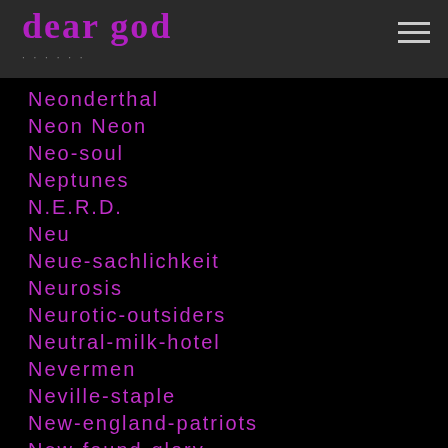dear god
Neonderthal
Neon Neon
Neo-soul
Neptunes
N.E.R.D.
Neu
Neue-sachlichkeit
Neurosis
Neurotic-outsiders
Neutral-milk-hotel
Nevermen
Neville-staple
New-england-patriots
New-found-glory
New-jersey
Neworder
New-order